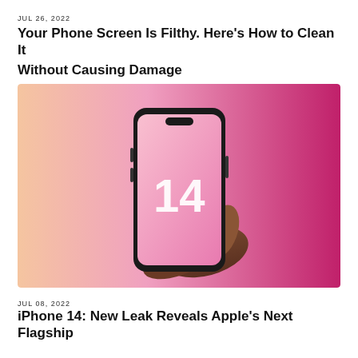JUL 26, 2022
Your Phone Screen Is Filthy. Here's How to Clean It Without Causing Damage
[Figure (photo): A hand holding an iPhone displaying the number 14 on screen, against a pink-to-peach gradient background suggesting an iPhone 14 promotional image.]
JUL 08, 2022
iPhone 14: New Leak Reveals Apple's Next Flagship